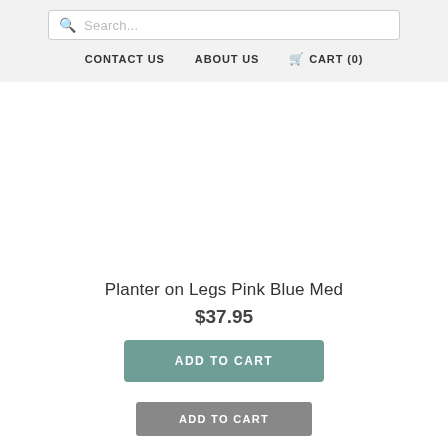Search... | CONTACT US | ABOUT US | CART (0)
[Figure (other): Product image area for Planter on Legs Pink Blue Med (blank/white area)]
Planter on Legs Pink Blue Med
$37.95
ADD TO CART
ADD TO CART